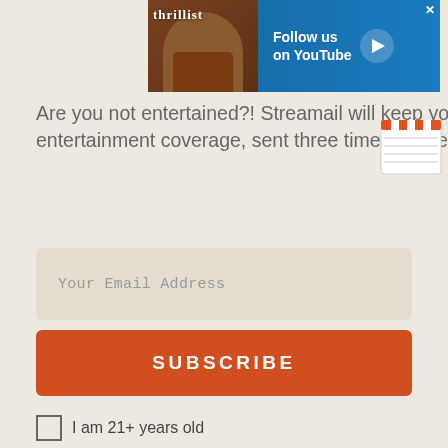[Figure (screenshot): Thrillist advertisement banner with man eating food, 'Follow us on YouTube' text and play button]
Are you not entertained?! Streamail will keep you on the edge of your seat with our latest entertainment coverage, sent three times a week.
[Figure (illustration): Film clapperboard icon with red and white stripes]
Your Email Address
SUBSCRIBE
I am 21+ years old
By signing up, I agree to the Terms and Privacy Policy.
ADVERTISEMENT
[Figure (screenshot): Advertisement showing Statue of Liberty holding a hot dog with text 'MESSY HISTORY' in red letters on light blue background]